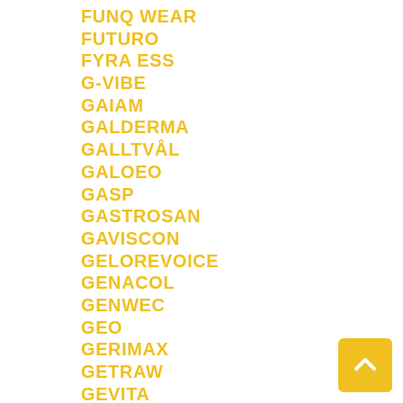FUNQ WEAR
FUTURO
FYRA ESS
G-VIBE
GAIAM
GALDERMA
GALLTVÅL
GALOEO
GASP
GASTROSAN
GAVISCON
GELOREVOICE
GENACOL
GENWEC
GEO
GERIMAX
GETRAW
GEVITA
GFORCE
GHOST
GILLETTE
GIMA
GINESIS